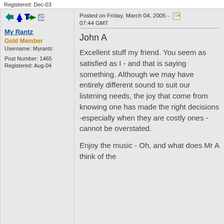Registered: Dec-03
[Figure (other): Forum post navigation icons (up/down arrows, envelope icon)]
My Rantz
Gold Member
Username: Myrantz
Post Number: 1465
Registered: Aug-04
Posted on Friday, March 04, 2005 - 07:44 GMT
John A
Excellent stuff my friend. You seem as satisfied as I - and that is saying something. Although we may have entirely different sound to suit our listening needs, the joy that come from knowing one has made the right decisions -especially when they are costly ones - cannot be overstated.
Enjoy the music - Oh, and what does Mr A think of the